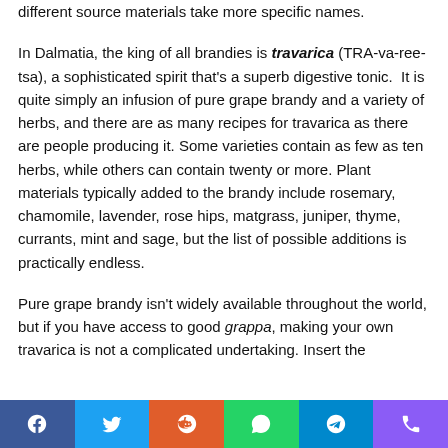different source materials take more specific names.
In Dalmatia, the king of all brandies is travarica (TRA-va-ree-tsa), a sophisticated spirit that’s a superb digestive tonic.  It is quite simply an infusion of pure grape brandy and a variety of herbs, and there are as many recipes for travarica as there are people producing it. Some varieties contain as few as ten herbs, while others can contain twenty or more. Plant materials typically added to the brandy include rosemary, chamomile, lavender, rose hips, matgrass, juniper, thyme, currants, mint and sage, but the list of possible additions is practically endless.
Pure grape brandy isn’t widely available throughout the world, but if you have access to good grappa, making your own travarica is not a complicated undertaking. Insert the
Facebook Twitter Reddit WhatsApp Telegram Phone